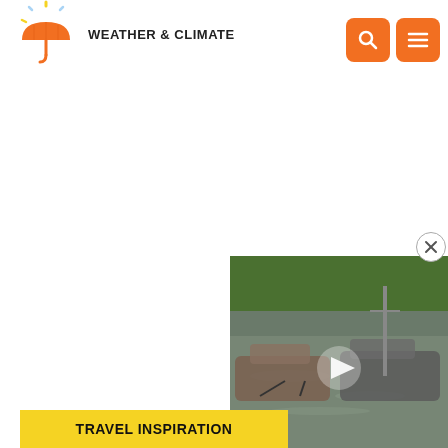WEATHER & CLIMATE
[Figure (screenshot): White advertisement/content area placeholder below header]
[Figure (photo): Flooded road with submerged vehicles, water covering street, green trees in background, video play button overlay]
TRAVEL INSPIRATION